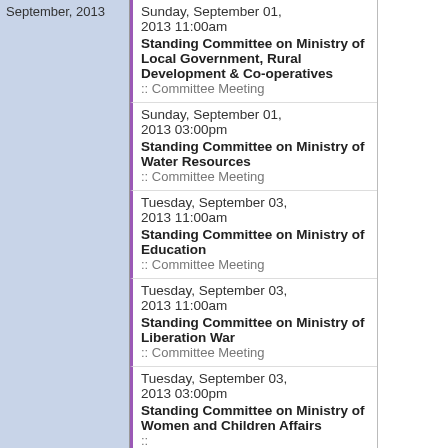September, 2013
Sunday, September 01, 2013 11:00am Standing Committee on Ministry of Local Government, Rural Development & Co-operatives :: Committee Meeting
Sunday, September 01, 2013 03:00pm Standing Committee on Ministry of Water Resources :: Committee Meeting
Tuesday, September 03, 2013 11:00am Standing Committee on Ministry of Education :: Committee Meeting
Tuesday, September 03, 2013 11:00am Standing Committee on Ministry of Liberation War :: Committee Meeting
Tuesday, September 03, 2013 03:00pm Standing Committee on Ministry of Women and Children Affairs ::